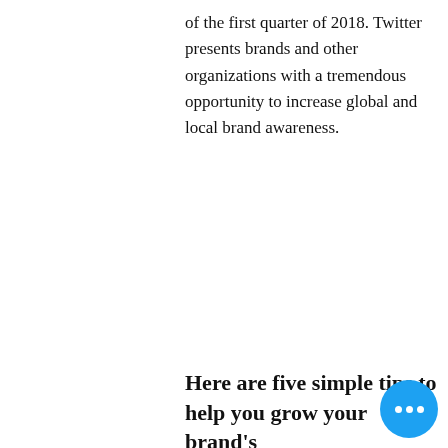of the first quarter of 2018. Twitter presents brands and other organizations with a tremendous opportunity to increase global and local brand awareness.
Here are five simple tips to help you grow your brand's